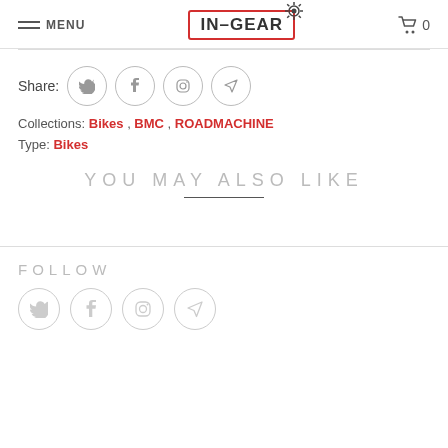MENU  IN-GEAR  0
Share:
Collections: Bikes , BMC , ROADMACHINE
Type: Bikes
YOU MAY ALSO LIKE
FOLLOW